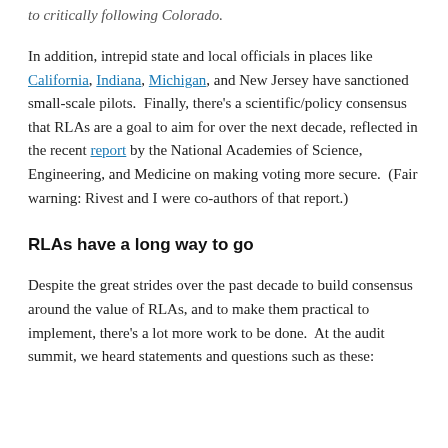to critically following Colorado.
In addition, intrepid state and local officials in places like California, Indiana, Michigan, and New Jersey have sanctioned small-scale pilots.  Finally, there's a scientific/policy consensus that RLAs are a goal to aim for over the next decade, reflected in the recent report by the National Academies of Science, Engineering, and Medicine on making voting more secure.  (Fair warning: Rivest and I were co-authors of that report.)
RLAs have a long way to go
Despite the great strides over the past decade to build consensus around the value of RLAs, and to make them practical to implement, there's a lot more work to be done.  At the audit summit, we heard statements and questions such as these: